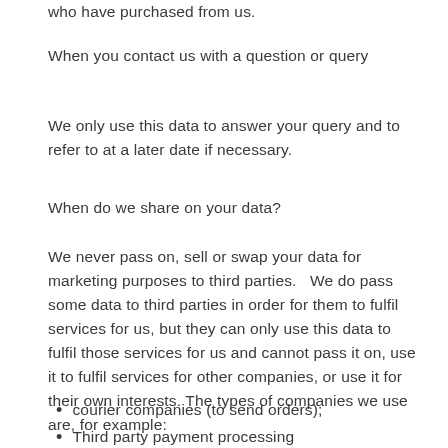who have purchased from us.
When you contact us with a question or query
We only use this data to answer your query and to refer to at a later date if necessary.
When do we share on your data?
We never pass on, sell or swap your data for marketing purposes to third parties.   We do pass some data to third parties in order for them to fulfil services for us, but they can only use this data to fulfil those services for us and cannot pass it on, use it to fulfil services for other companies, or use it for their own interests. The types of companies we use are, for example:
courier companies (to send orders);
Third party payment processing